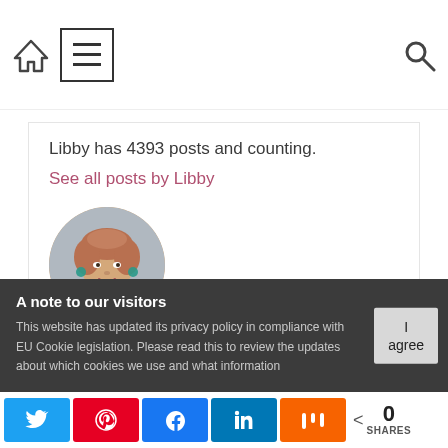Navigation bar with home, menu, and search icons
Libby has 4393 posts and counting.
See all posts by Libby
[Figure (photo): Circular portrait photo of a woman with short curly reddish-brown hair, wearing teal earrings and a teal patterned scarf/blouse]
A note to our visitors
This website has updated its privacy policy in compliance with EU Cookie legislation. Please read this to review the updates about which cookies we use and what information
Social share bar with Twitter, Pinterest, Facebook, LinkedIn, Mix buttons and share count: 0 SHARES